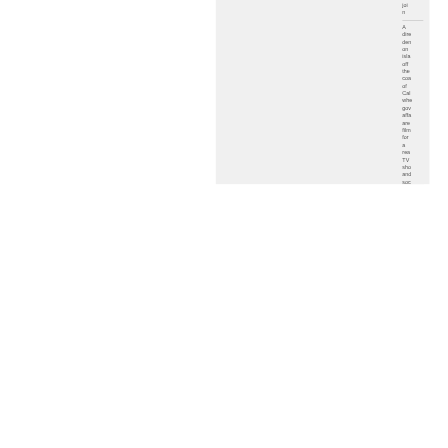join
A direct dependency on islands off the coast of California where government affairs are filmed for a reality TV show and social media is the only way